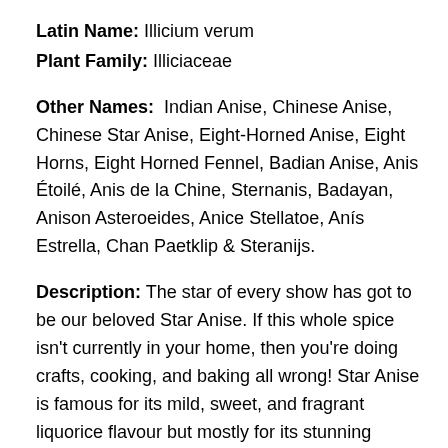Latin Name: Illicium verum
Plant Family: Illiciaceae
Other Names: Indian Anise, Chinese Anise, Chinese Star Anise, Eight-Horned Anise, Eight Horns, Eight Horned Fennel, Badian Anise, Anis Étoilé, Anis de la Chine, Sternanis, Badayan, Anison Asteroeides, Anice Stellatoe, Anís Estrella, Chan Paetklip & Steranijs.
Description: The star of every show has got to be our beloved Star Anise. If this whole spice isn't currently in your home, then you're doing crafts, cooking, and baking all wrong! Star Anise is famous for its mild, sweet, and fragrant liquorice flavour but mostly for its stunning